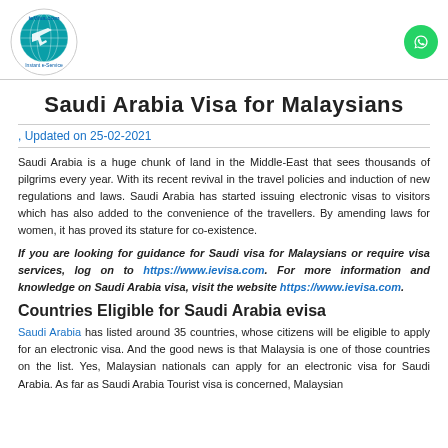ieVisa.com logo and WhatsApp button
Saudi Arabia Visa for Malaysians
, Updated on 25-02-2021
Saudi Arabia is a huge chunk of land in the Middle-East that sees thousands of pilgrims every year. With its recent revival in the travel policies and induction of new regulations and laws. Saudi Arabia has started issuing electronic visas to visitors which has also added to the convenience of the travellers. By amending laws for women, it has proved its stature for co-existence.
If you are looking for guidance for Saudi visa for Malaysians or require visa services, log on to https://www.ievisa.com. For more information and knowledge on Saudi Arabia visa, visit the website https://www.ievisa.com.
Countries Eligible for Saudi Arabia evisa
Saudi Arabia has listed around 35 countries, whose citizens will be eligible to apply for an electronic visa. And the good news is that Malaysia is one of those countries on the list. Yes, Malaysian nationals can apply for an electronic visa for Saudi Arabia. As far as Saudi Arabia Tourist visa is concerned, Malaysian